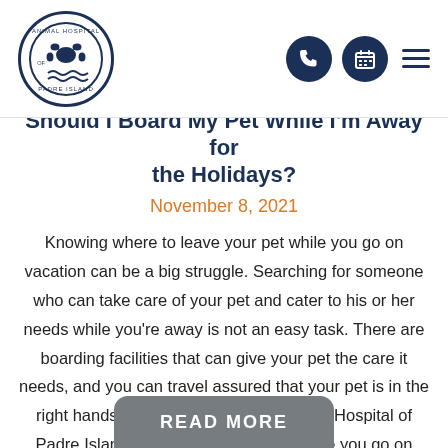Animal Hospital of Padre Island — navigation header with logo and icons
Should I Board My Pet While I'm Away for the Holidays?
November 8, 2021
Knowing where to leave your pet while you go on vacation can be a big struggle. Searching for someone who can take care of your pet and cater to his or her needs while you're away is not an easy task. There are boarding facilities that can give your pet the care it needs, and you can travel assured that your pet is in the right hands. Boarding your pet at Animal Hospital of Padre Island is a great way to relax while you go on vacation.
READ MORE